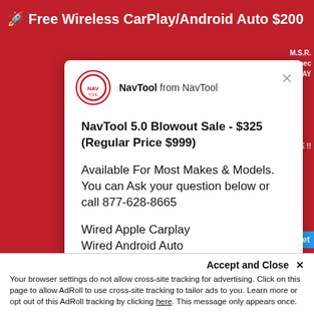🚀 Free Wireless CarPlay/Android Auto $200
[Figure (screenshot): NavTool chat popup modal with logo and from label 'NavTool from NavTool', close button, containing promotional text about NavTool 5.0 Blowout Sale - $325 (Regular Price $999), availability info and contact number 877-628-8665, and Wired Apple Carplay, Wired Android Auto]
NavTool 5.0 Blowout Sale - $325 (Regular Price $999)
Available For Most Makes & Models. You can Ask your question below or call 877-628-8665
Wired Apple Carplay
Wired Android Auto
Accept and Close ×
Your browser settings do not allow cross-site tracking for advertising. Click on this page to allow AdRoll to use cross-site tracking to tailor ads to you. Learn more or opt out of this AdRoll tracking by clicking here. This message only appears once.